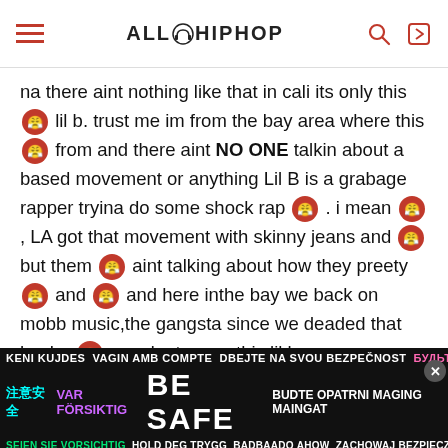AllHipHop
na there aint nothing like that in cali its only this [emoji] lil b. trust me im from the bay area where this [emoji] from and there aint NO ONE talkin about a based movement or anything Lil B is a grabage rapper tryina do some shock rap [emoji]. i mean [emoji], LA got that movement with skinny jeans and [emoji] but them [emoji] aint talking about how they preety [emoji] and [emoji] and here inthe bay we back on mobb music,the gangsta since we deaded that hyphy [emoji]. so dont worry this lil b
[Figure (infographic): BE SAFE multilingual safety banner at bottom of page]